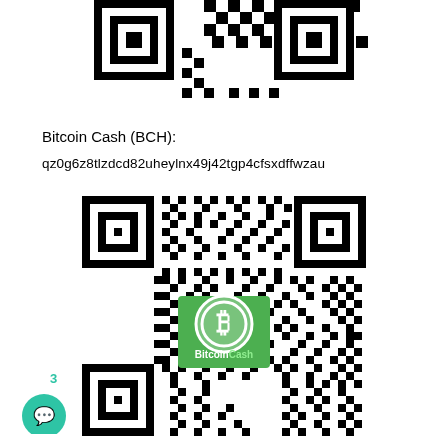[Figure (other): Top portion of a QR code (cropped), black and white pattern]
Bitcoin Cash (BCH):
qz0g6z8tlzdcd82uheylnx49j42tgp4cfsxdffwzau
[Figure (other): QR code for Bitcoin Cash (BCH) address with Bitcoin Cash logo (green circle with B symbol) and 'BitcoinCash' text in the center]
[Figure (other): Chat/support button widget at bottom left with notification count 3]